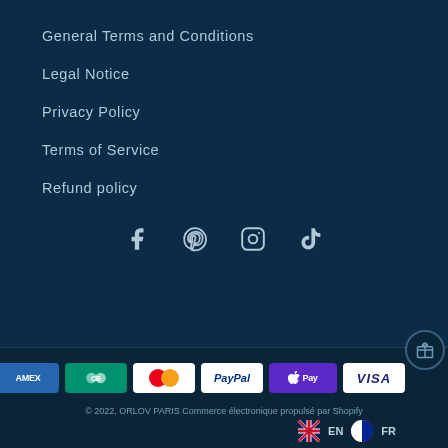General Terms and Conditions
Legal Notice
Privacy Policy
Terms of Service
Refund policy
[Figure (infographic): Social media icons row: Facebook, Pinterest, Instagram, TikTok]
[Figure (infographic): Payment method logos: Amex, CB, Mastercard, PayPal, Apple Pay, Visa]
© 2022, ORLOV PARIS Commerce électronique propulsé par Shopify
EN   FR